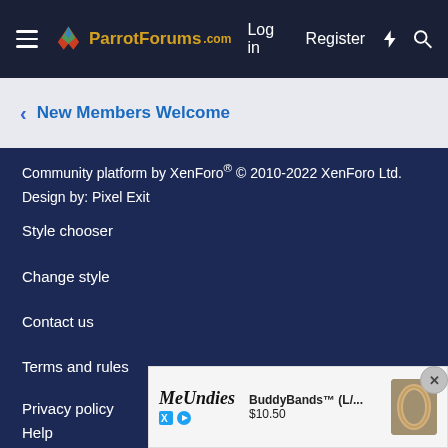ParrotForums.com  Log in  Register
< New Members Welcome
Community platform by XenForo® © 2010-2022 XenForo Ltd.
Design by: Pixel Exit
Style chooser
Change style
Contact us
Terms and rules
Privacy policy
Help
[Figure (screenshot): MeUndies advertisement banner showing BuddyBands™ product for $10.50]